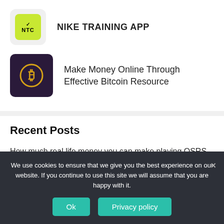[Figure (logo): Nike Training Club app icon - NTC logo on lime green background]
NIKE TRAINING APP
[Figure (logo): Bitcoin app icon - gold Bitcoin symbol on dark purple background]
Make Money Online Through Effective Bitcoin Resource
Recent Posts
How much real life money you can make playing OSRS
The Bovada Review
We use cookies to ensure that we give you the best experience on our website. If you continue to use this site we will assume that you are happy with it.